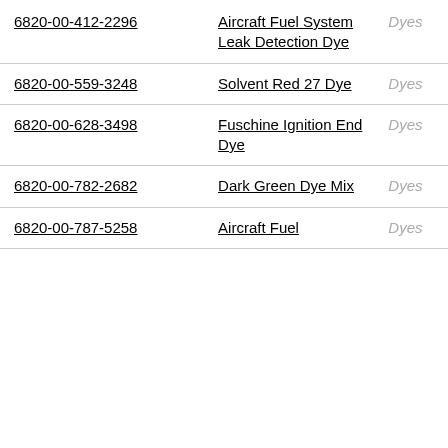| 6820-00-412-2296 | Aircraft Fuel System Leak Detection Dye | Dyes |
| 6820-00-559-3248 | Solvent Red 27 Dye | Dyes |
| 6820-00-628-3498 | Fuschine Ignition End Dye | Dyes |
| 6820-00-782-2682 | Dark Green Dye Mix | Dyes |
| 6820-00-787-5258 | Aircraft Fuel… | Dyes |